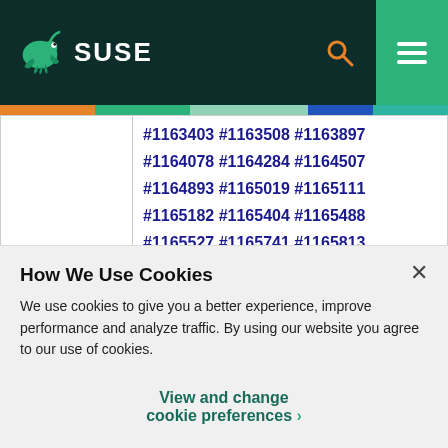SUSE
| References: | #1163403 #1163508 #1163897 #1164078 #1164284 #1164507 #1164893 #1165019 #1165111 #1165182 #1165404 #1165488 #1165527 #1165741 #1165813 #1165873 #1165949 #1165984 |
How We Use Cookies
We use cookies to give you a better experience, improve performance and analyze traffic. By using our website you agree to our use of cookies.
View and change cookie preferences >